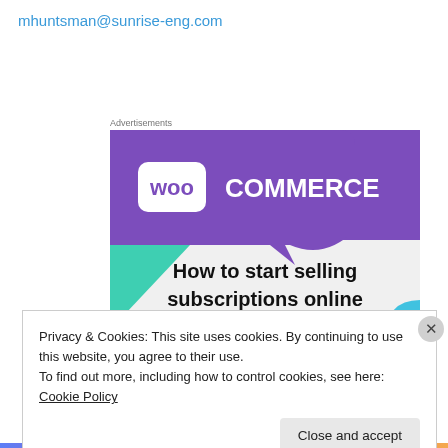mhuntsman@sunrise-eng.com
Advertisements
[Figure (illustration): WooCommerce advertisement banner showing the WooCommerce logo on a purple background with green and blue decorative triangles, and the text 'How to start selling subscriptions online']
Privacy & Cookies: This site uses cookies. By continuing to use this website, you agree to their use.
To find out more, including how to control cookies, see here: Cookie Policy